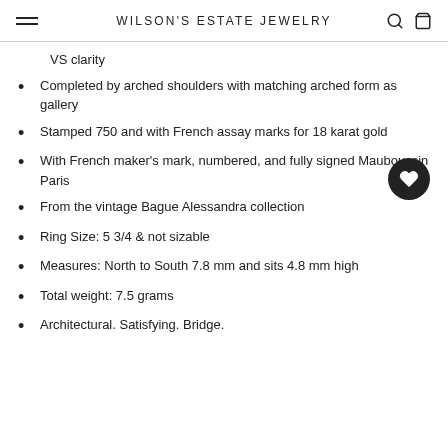WILSON'S ESTATE JEWELRY
VS clarity
Completed by arched shoulders with matching arched form as gallery
Stamped 750 and with French assay marks for 18 karat gold
With French maker's mark, numbered, and fully signed Mauboussin Paris
From the vintage Bague Alessandra collection
Ring Size: 5 3/4 & not sizable
Measures: North to South 7.8 mm and sits 4.8 mm high
Total weight: 7.5 grams
Architectural. Satisfying. Bridge.